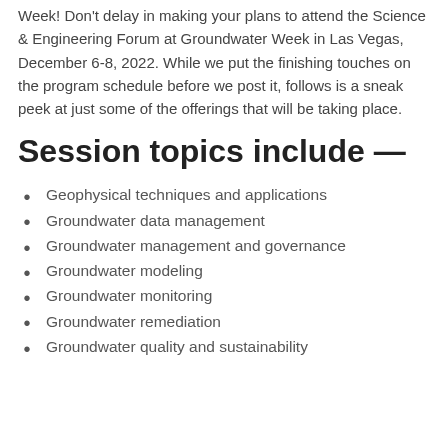Week! Don't delay in making your plans to attend the Science & Engineering Forum at Groundwater Week in Las Vegas, December 6-8, 2022. While we put the finishing touches on the program schedule before we post it, follows is a sneak peek at just some of the offerings that will be taking place.
Session topics include —
Geophysical techniques and applications
Groundwater data management
Groundwater management and governance
Groundwater modeling
Groundwater monitoring
Groundwater remediation
Groundwater quality and sustainability